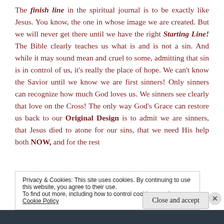The finish line in the spiritual journal is to be exactly like Jesus. You know, the one in whose image we are created. But we will never get there until we have the right Starting Line! The Bible clearly teaches us what is and is not a sin. And while it may sound mean and cruel to some, admitting that sin is in control of us, it's really the place of hope. We can't know the Savior until we know we are first sinners! Only sinners can recognize how much God loves us. We sinners see clearly that love on the Cross! The only way God's Grace can restore us back to our Original Design is to admit we are sinners, that Jesus died to atone for our sins, that we need His help both NOW, and for the rest
Privacy & Cookies: This site uses cookies. By continuing to use this website, you agree to their use.
To find out more, including how to control cookies, see here: Cookie Policy
Close and accept